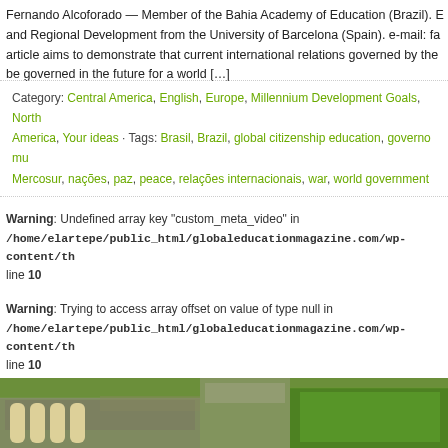Fernando Alcoforado — Member of the Bahia Academy of Education (Brazil). E... and Regional Development from the University of Barcelona (Spain). e-mail: fa... article aims to demonstrate that current international relations governed by the... be governed in the future for a world […]
Category: Central America, English, Europe, Millennium Development Goals, North America, Your ideas · Tags: Brasil, Brazil, global citizenship education, governo mu... Mercosur, nações, paz, peace, relações internacionais, war, world government
Warning: Undefined array key "custom_meta_video" in /home/elartepe/public_html/globaleducationmagazine.com/wp-content/th... line 10
Warning: Trying to access array offset on value of type null in /home/elartepe/public_html/globaleducationmagazine.com/wp-content/th... line 10
[Figure (photo): Aerial view of a large crowded carnival or stadium event with colorful floats and green decorations]